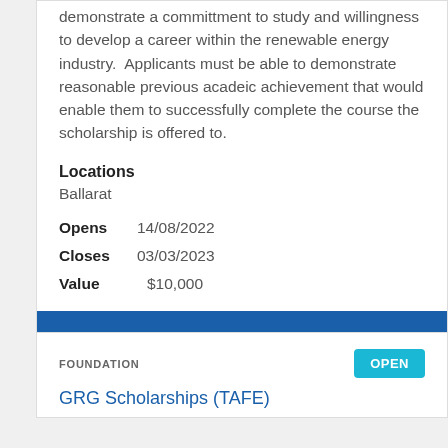demonstrate a committment to study and willingness to develop a career within the renewable energy industry.  Applicants must be able to demonstrate reasonable previous acadeic achievement that would enable them to successfully complete the course the scholarship is offered to.
Locations
Ballarat
Opens   14/08/2022
Closes  03/03/2023
Value    $10,000
View
FOUNDATION
OPEN
GRG Scholarships (TAFE)